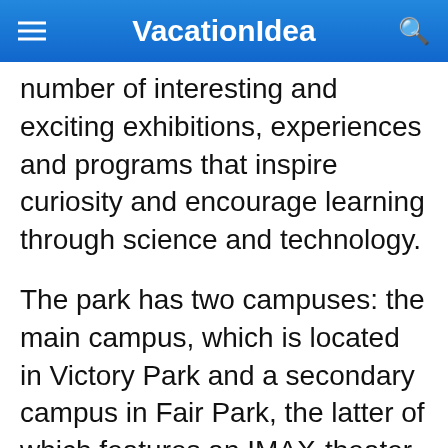VacationIdea
number of interesting and exciting exhibitions, experiences and programs that inspire curiosity and encourage learning through science and technology.
The park has two campuses: the main campus, which is located in Victory Park and a secondary campus in Fair Park, the latter of which features an IMAX-theater, a fully equipped and functioning planetarium, and an on-site paleontology lab. Visitors can explore the museum at the Fair Park campus,